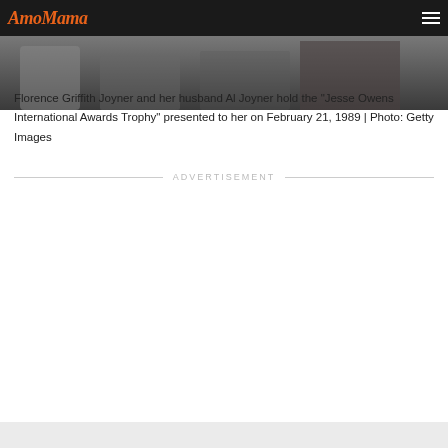AmoMama
[Figure (photo): Partial view of a photograph showing Florence Griffith Joyner and her husband Al Joyner, cropped at the top of the page]
Florence Griffith Joyner and her husband Al Joyner hold the "Jesse Owens International Awards Trophy" presented to her on February 21, 1989 | Photo: Getty Images
ADVERTISEMENT